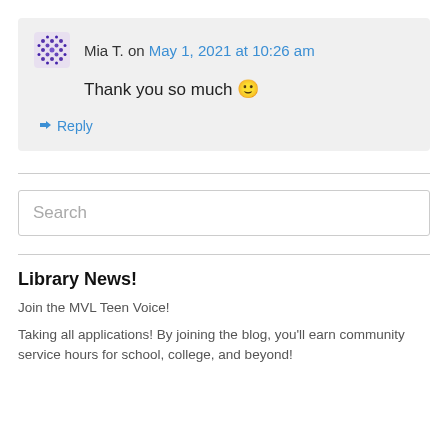Mia T. on May 1, 2021 at 10:26 am
Thank you so much 🙂
↳ Reply
Search
Library News!
Join the MVL Teen Voice!
Taking all applications! By joining the blog, you'll earn community service hours for school, college, and beyond!